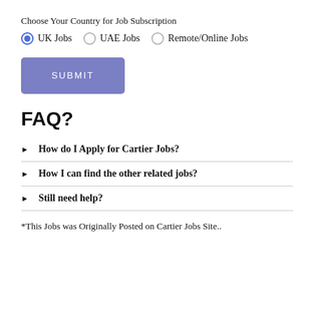Choose Your Country for Job Subscription
UK Jobs (selected), UAE Jobs, Remote/Online Jobs
[Figure (other): SUBMIT button, blue/purple rounded rectangle]
FAQ?
How do I Apply for Cartier Jobs?
How I can find the other related jobs?
Still need help?
*This Jobs was Originally Posted on Cartier Jobs Site..